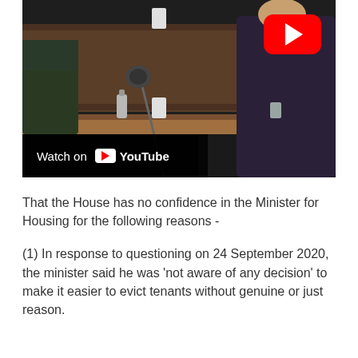[Figure (screenshot): YouTube video thumbnail showing a parliamentary or government hearing scene. A woman in a dark blouse is visible on the right side, with a microphone stand in the foreground and wooden bench furniture. A red YouTube play button is overlaid in the top-right corner. A 'Watch on YouTube' bar appears at the bottom-left of the image.]
That the House has no confidence in the Minister for Housing for the following reasons -
(1) In response to questioning on 24 September 2020, the minister said he was 'not aware of any decision' to make it easier to evict tenants without genuine or just reason.